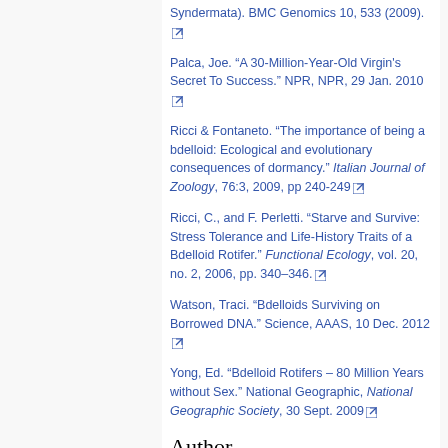Syndermata). BMC Genomics 10, 533 (2009). [link]
Palca, Joe. “A 30-Million-Year-Old Virgin's Secret To Success.” NPR, NPR, 29 Jan. 2010 [link]
Ricci & Fontaneto. "The importance of being a bdelloid: Ecological and evolutionary consequences of dormancy." Italian Journal of Zoology, 76:3, 2009, pp 240-249 [link]
Ricci, C., and F. Perletti. “Starve and Survive: Stress Tolerance and Life-History Traits of a Bdelloid Rotifer.” Functional Ecology, vol. 20, no. 2, 2006, pp. 340–346. [link]
Watson, Traci. “Bdelloids Surviving on Borrowed DNA.” Science, AAAS, 10 Dec. 2012 [link]
Yong, Ed. “Bdelloid Rotifers – 80 Million Years without Sex.” National Geographic, National Geographic Society, 30 Sept. 2009 [link]
Author